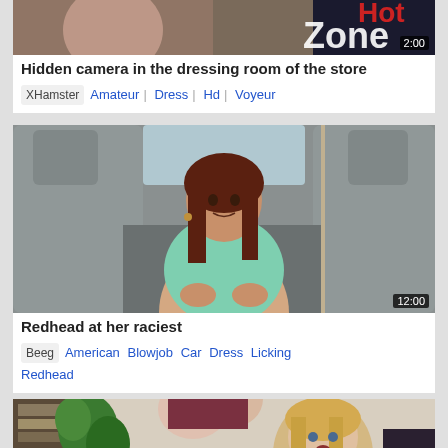[Figure (photo): Top portion of a video thumbnail (partially visible), showing a store dressing room scene with '2:00' duration overlay]
Hidden camera in the dressing room of the store
XHamster  Amateur  Dress  Hd  Voyeur
[Figure (photo): Video thumbnail showing a redhead woman sitting in the back seat of a car, wearing a mint green top and denim shorts. Duration overlay '12:00']
Redhead at her raciest
Beeg  American  Blowjob  Car  Dress  Licking  Redhead
[Figure (photo): Partially visible video thumbnail showing a blonde woman in a living room setting with plants in background]